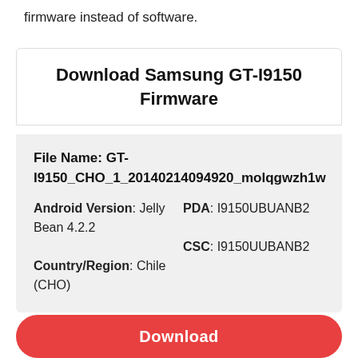firmware instead of software.
Download Samsung GT-I9150 Firmware
File Name: GT-I9150_CHO_1_20140214094920_molqgwzh1w
Android Version: Jelly Bean 4.2.2
PDA: I9150UBUANB2
Country/Region: Chile (CHO)
CSC: I9150UUBANB2
Download